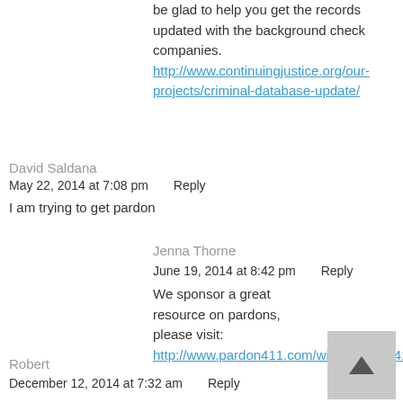be glad to help you get the records updated with the background check companies. http://www.continuingjustice.org/our-projects/criminal-database-update/
David Saldana
May 22, 2014 at 7:08 pm     Reply
I am trying to get pardon
Jenna Thorne
June 19, 2014 at 8:42 pm     Reply
We sponsor a great resource on pardons, please visit: http://www.pardon411.com/wiki/Pardon_411
Robert
December 12, 2014 at 7:32 am     Reply